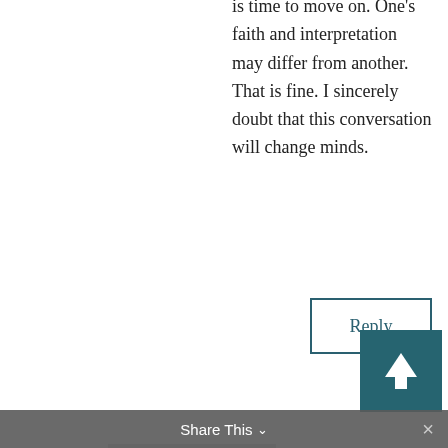is time to move on. One's faith and interpretation may differ from another. That is fine. I sincerely doubt that this conversation will change minds.
Reply
[Figure (illustration): Gray placeholder avatar silhouette icon]
on Rae on May 6, 2016 at 5:07 pm
his, I'm LDS. Why do you role play Adam why does your wife role play Eve in the temple if that's not the path to Godhood?
Study the original Saint George temple ceremony and you might come to understand more of what Brigham was getting at when plainly teaching Adam God.
Share This